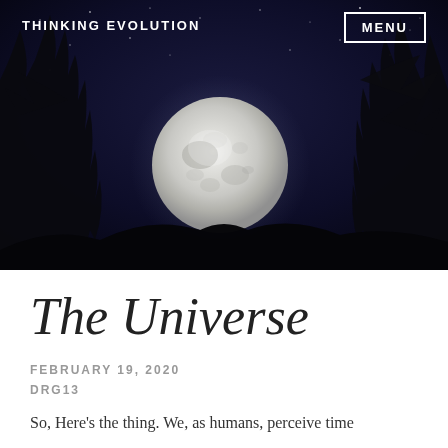[Figure (photo): Night sky photo with a large full moon rising between silhouetted pine trees, dark blue/purple starry sky background, mountain silhouette at the bottom.]
THINKING EVOLUTION
The Universe
FEBRUARY 19, 2020
DRG13
So, Here's the thing. We, as humans, perceive time